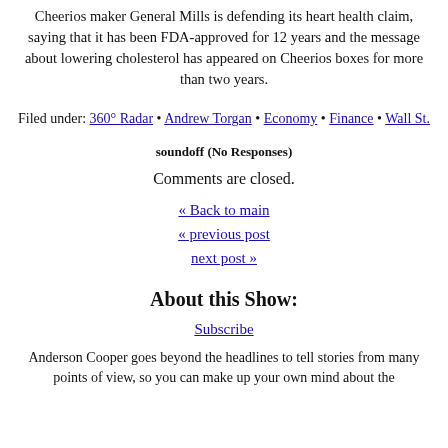Cheerios maker General Mills is defending its heart health claim, saying that it has been FDA-approved for 12 years and the message about lowering cholesterol has appeared on Cheerios boxes for more than two years.
Filed under: 360° Radar • Andrew Torgan • Economy • Finance • Wall St.
soundoff (No Responses)
Comments are closed.
« Back to main
« previous post
next post »
About this Show:
Subscribe
Anderson Cooper goes beyond the headlines to tell stories from many points of view, so you can make up your own mind about the